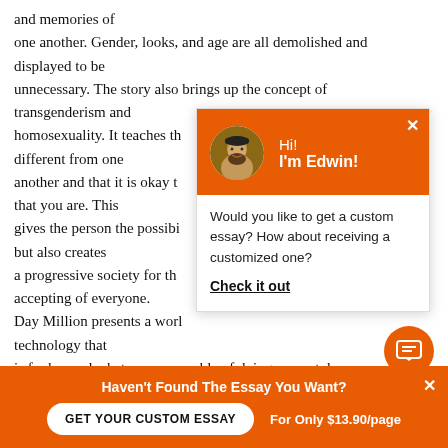and memories of one another. Gender, looks, and age are all demolished and displayed to be unnecessary. The story also brings up the concept of transgenderism and homosexuality. It teaches th... different from one another and that it is okay t... that you are. This gives the person the possibi... fe but also creates a progressive society for th... accepting of everyone. Day Million presents a worl... technology that is far beyond what we are capable of doing present day.
[Figure (screenshot): Chat popup widget with orange header showing avatar of a bearded man and text 'Hi! I'm Edwin!', body text 'Would you like to get a custom essay? How about receiving a customized one?' with bold underlined 'Check it out' link, and orange chat icon button at bottom right.]
Haven't Found The Essay You Want?
GET YOUR CUSTOM ESSAY    For Only $13.90/page